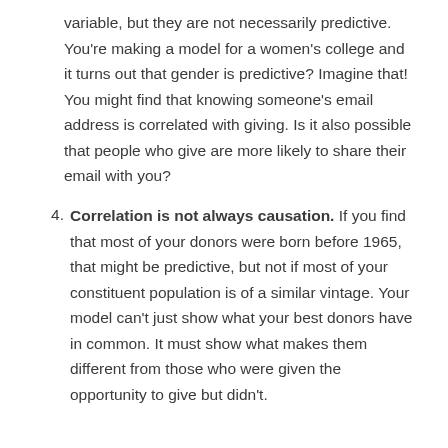variable, but they are not necessarily predictive. You're making a model for a women's college and it turns out that gender is predictive? Imagine that! You might find that knowing someone's email address is correlated with giving. Is it also possible that people who give are more likely to share their email with you?
4. Correlation is not always causation. If you find that most of your donors were born before 1965, that might be predictive, but not if most of your constituent population is of a similar vintage. Your model can't just show what your best donors have in common. It must show what makes them different from those who were given the opportunity to give but didn't.